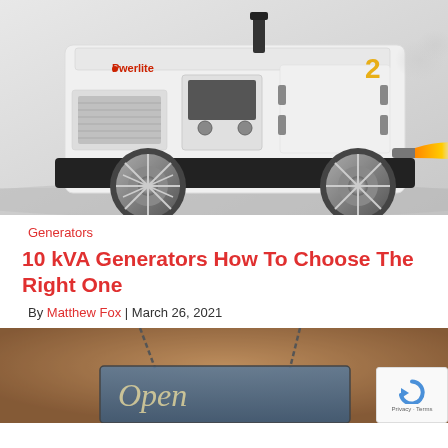[Figure (photo): A white Powerlite industrial generator on large chrome wheels, stylized as if speeding with flames coming from the exhaust pipe on the right side, on a light grey background.]
Generators
10 kVA Generators How To Choose The Right One
By Matthew Fox | March 26, 2021
[Figure (photo): A blurred close-up of a rustic hanging open/closed sign on chains against a warm brown background. The sign appears to say something in cursive script.]